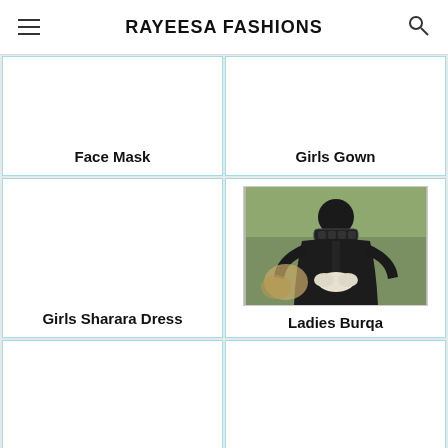RAYEESA FASHIONS
Face Mask
Girls Gown
Girls Sharara Dress
Ladies Burqa
[Figure (photo): Photo of a woman wearing a black ladies burqa/abaya with decorative collar, holding hands together, in an outdoor setting]
(two partial grid cells at bottom, no visible content)